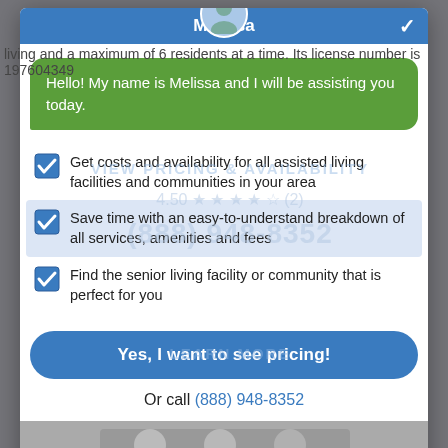living and a maximum of 6 residents at a time. Its license number is 197604349
Hello! My name is Melissa and I will be assisting you today.
Get costs and availability for all assisted living facilities and communities in your area
Save time with an easy-to-understand breakdown of all services, amenities and fees
Find the senior living facility or community that is perfect for you
Yes, I want to see pricing!
Or call (888) 948-8352